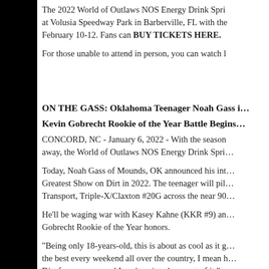The 2022 World of Outlaws NOS Energy Drink Sprint Car Series kicks off at Volusia Speedway Park in Barberville, FL with the DIRTcar Nationals February 10-12. Fans can BUY TICKETS HERE.
For those unable to attend in person, you can watch l…
ON THE GASS: Oklahoma Teenager Noah Gass i…
Kevin Gobrecht Rookie of the Year Battle Begins…
CONCORD, NC - January 6, 2022 - With the season just weeks away, the World of Outlaws NOS Energy Drink Spri…
Today, Noah Gass of Mounds, OK announced his int… Greatest Show on Dirt in 2022. The teenager will pil… Transport, Triple-X/Claxton #20G across the near 90…
He'll be waging war with Kasey Kahne (KKR #9) an… Gobrecht Rookie of the Year honors.
"Being only 18-years-old, this is about as cool as it g… the best every weekend all over the country, I mean h… Dirt for a reason, and I can't wait to be a part of it."